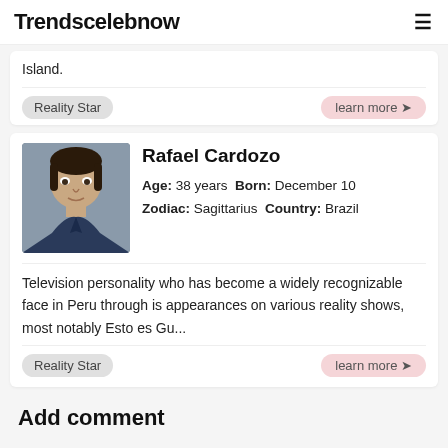Trendscelebnow
Island.
Reality Star
learn more ➔
Rafael Cardozo
Age: 38 years  Born: December 10  Zodiac: Sagittarius  Country: Brazil
Television personality who has become a widely recognizable face in Peru through is appearances on various reality shows, most notably Esto es Gu...
Reality Star
learn more ➔
Add comment